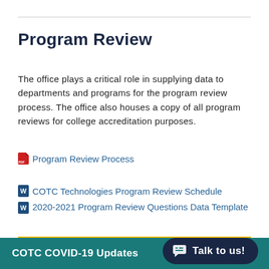Program Review
The office plays a critical role in supplying data to departments and programs for the program review process. The office also houses a copy of all program reviews for college accreditation purposes.
Program Review Process
COTC Technologies Program Review Schedule
2020-2021 Program Review Questions Data Template
READ MORE
COTC COVID-19 Updates   Talk to us!